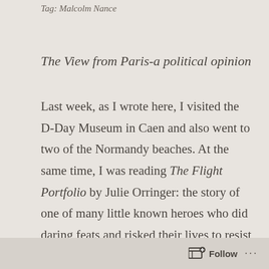Tag: Malcolm Nance
The View from Paris-a political opinion
Last week, as I wrote here, I visited the D-Day Museum in Caen and also went to two of the Normandy beaches. At the same time, I was reading The Flight Portfolio by Julie Orringer: the story of one of many little known heroes who did daring feats and risked their lives to resist the Nazis and the Vichy. It’s 75 years since D-Day.
Follow